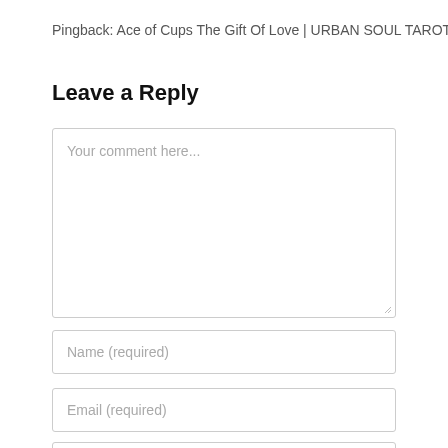Pingback: Ace of Cups The Gift Of Love | URBAN SOUL TAROT
Leave a Reply
Your comment here...
Name (required)
Email (required)
Website